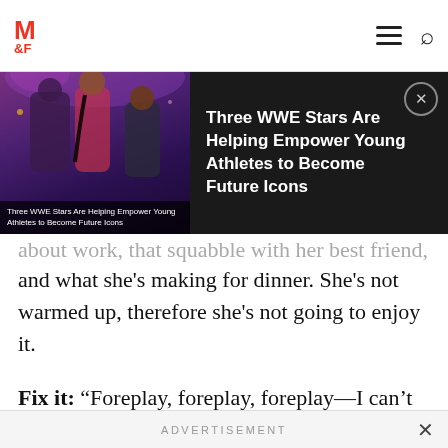M&F (Muscle & Fitness) navigation bar with logo, hamburger menu, and search icon
[Figure (screenshot): Dark banner ad showing WWE article: 'Three WWE Stars Are Helping Empower Young Athletes to Become Future Icons' with thumbnail image of performers on stage]
about work, that squabble with her best friend, and what she's making for dinner. She's not warmed up, therefore she's not going to enjoy it.
Fix it: “Foreplay, foreplay, foreplay—I can’t say it enough!” Morse says. You may be ready to go the second you get home, but you have to remember, sex is mostly mental for women.
ADVERTISEMENT